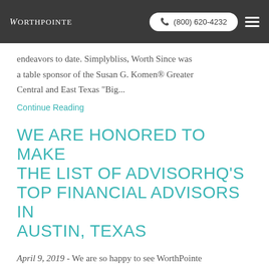WorthPointe  ☎ (800) 620-4232
endeavors to date. Simplybliss, Worth Since was a table sponsor of the Susan G. Komen® Greater Central and East Texas "Big...
Continue Reading
WE ARE HONORED TO MAKE THE LIST OF ADVISORHQ'S TOP FINANCIAL ADVISORS IN AUSTIN, TEXAS
April 9, 2019 - We are so happy to see WorthPointe on AdvisorHQ's Top Financial Advisors in Austin...